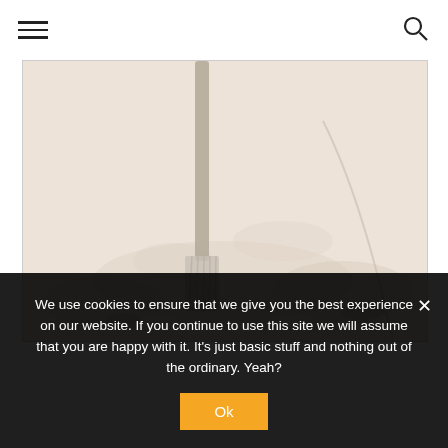Navigation bar with hamburger menu and search icon
[Figure (photo): Close-up photo of a pastry brush being used on a pale cream-colored dough or batter surface, with a light beige/cream tone throughout]
We use cookies to ensure that we give you the best experience on our website. If you continue to use this site we will assume that you are happy with it. It's just basic stuff and nothing out of the ordinary. Yeah?
Ok